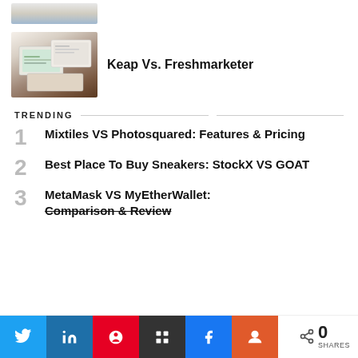[Figure (photo): Partial thumbnail of laptop/credit card image at top, partially cut off]
[Figure (photo): Thumbnail of CRM software on tablet/laptop with papers, brown desk background]
Keap Vs. Freshmarketer
TRENDING
1 Mixtiles VS Photosquared: Features & Pricing
2 Best Place To Buy Sneakers: StockX VS GOAT
3 MetaMask VS MyEtherWallet: Comparison & Review